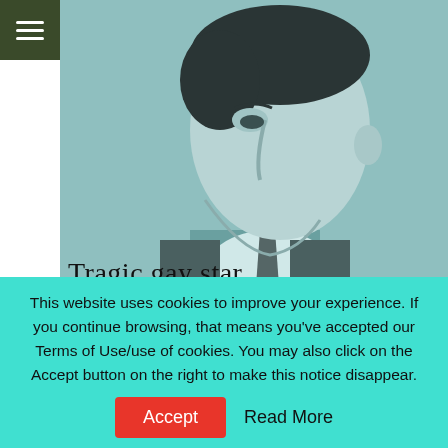[Figure (photo): Black and white vintage portrait photo of a young man in profile view, wearing a suit and tie, with text overlay 'Tragic gay star']
[Figure (photo): Color photo showing a partial view of a person, cropped, with blurred background]
This website uses cookies to improve your experience. If you continue browsing, that means you've accepted our Terms of Use/use of cookies. You may also click on the Accept button on the right to make this notice disappear.